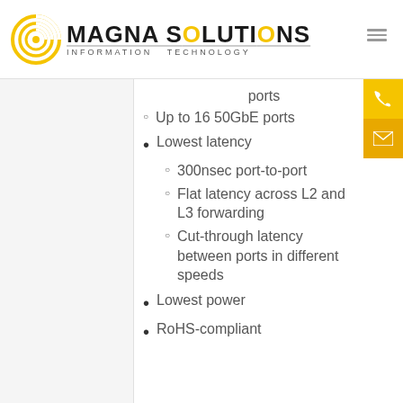MAGNA SOLUTIONS INFORMATION TECHNOLOGY
ports
Up to 16 50GbE ports
Lowest latency
300nsec port-to-port
Flat latency across L2 and L3 forwarding
Cut-through latency between ports in different speeds
Lowest power
RoHS-compliant